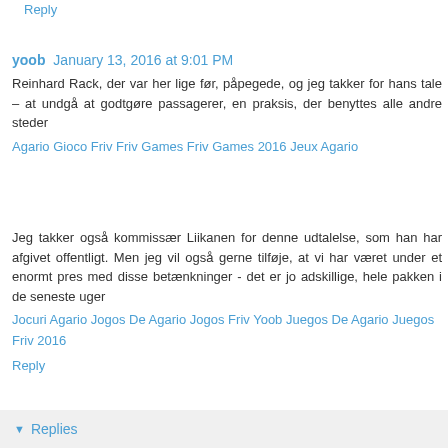Reply
yoob  January 13, 2016 at 9:01 PM
Reinhard Rack, der var her lige før, påpegede, og jeg takker for hans tale – at undgå at godtgøre passagerer, en praksis, der benyttes alle andre steder
Agario Gioco Friv Friv Games Friv Games 2016 Jeux Agario
Jeg takker også kommissær Liikanen for denne udtalelse, som han har afgivet offentligt. Men jeg vil også gerne tilføje, at vi har været under et enormt pres med disse betænkninger - det er jo adskillige, hele pakken i de seneste uger
Jocuri Agario Jogos De Agario Jogos Friv Yoob Juegos De Agario Juegos Friv 2016
Reply
Replies